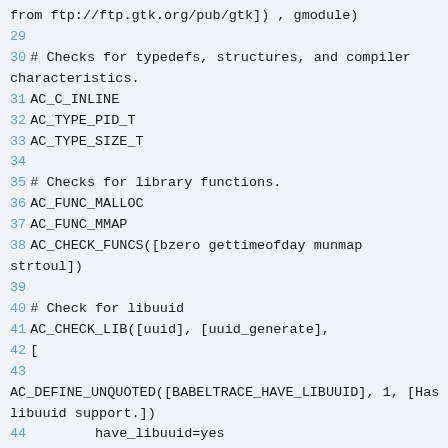Code snippet showing autoconf configure.ac lines 29-47 with AC macros for typedefs, library functions, and libuuid checks